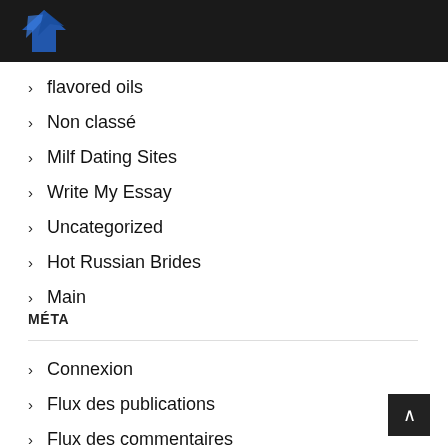[Figure (logo): Blue angular logo in dark header bar]
flavored oils
Non classé
Milf Dating Sites
Write My Essay
Uncategorized
Hot Russian Brides
Main
MÉTA
Connexion
Flux des publications
Flux des commentaires